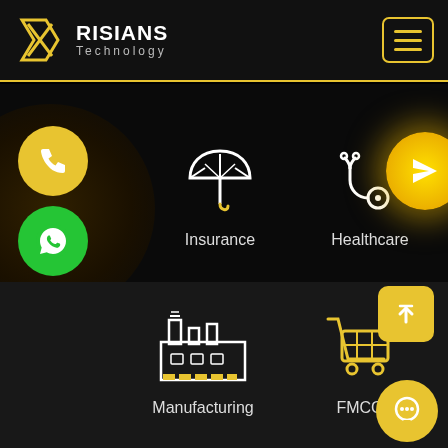[Figure (logo): Risians Technology logo with angular R icon in gold/yellow]
RISIANS Technology
[Figure (infographic): Website screenshot showing industry categories: Insurance (umbrella icon), Healthcare (stethoscope icon), Manufacturing (factory icon), FMCG (shopping cart icon) on dark background with interactive buttons]
Insurance
Healthcare
Manufacturing
FMCG